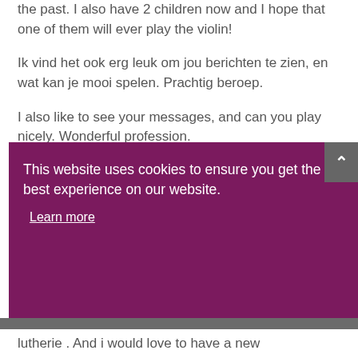the past. I also have 2 children now and I hope that one of them will ever play the violin!
Ik vind het ook erg leuk om jou berichten te zien, en wat kan je mooi spelen. Prachtig beroep.
I also like to see your messages, and can you play nicely. Wonderful profession.
Michelle de Vré
This website uses cookies to ensure you get the best experience on our website.
Learn more
Dismiss
lutherie . And i would love to have a new